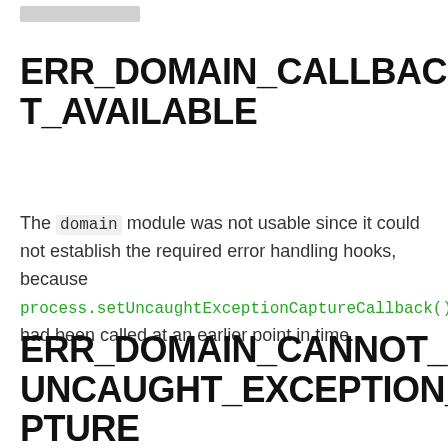[Figure (other): Small grey rectangle placeholder image at top left]
ERR_DOMAIN_CALLBACK_NOT_AVAILABLE #
The domain module was not usable since it could not establish the required error handling hooks, because process.setUncaughtExceptionCaptureCallback() had been called at an earlier point in time.
ERR_DOMAIN_CANNOT_SET_UNCAUGHT_EXCEPTION_CAPTURE #